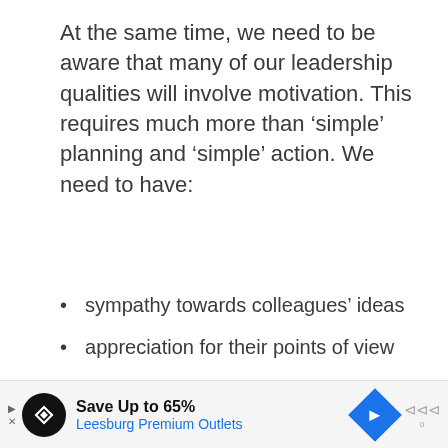At the same time, we need to be aware that many of our leadership qualities will involve motivation. This requires much more than ‘simple’ planning and ‘simple’ action. We need to have:
sympathy towards colleagues’ ideas
appreciation for their points of view
understanding of, and concern for, their feelings
compassion
willingness to praise and to be seen to
Save Up to 65% Leesburg Premium Outlets